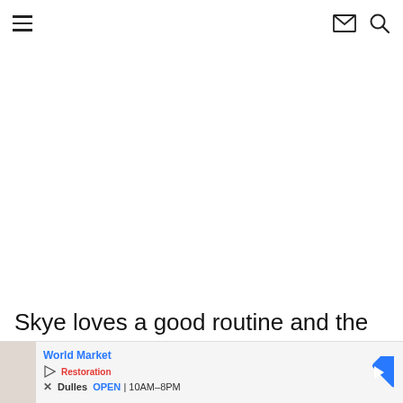Navigation header with hamburger menu, mail icon, and search icon
Skye loves a good routine and the second we walk out of the daycare she reaches for that sanitizer.
[Figure (screenshot): Advertisement banner showing World Market ad with store location Dulles, OPEN 10AM-8PM]